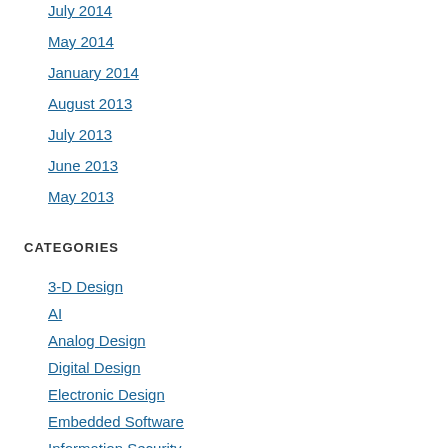July 2014
May 2014
January 2014
August 2013
July 2013
June 2013
May 2013
CATEGORIES
3-D Design
AI
Analog Design
Digital Design
Electronic Design
Embedded Software
Information Security